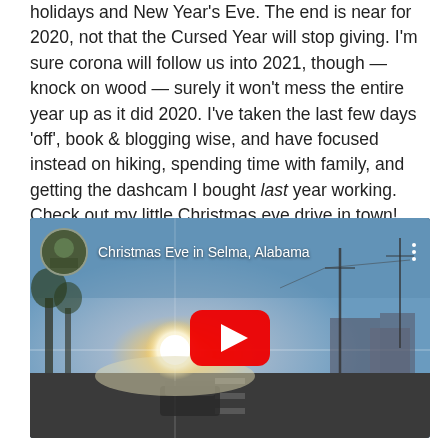holidays and New Year's Eve. The end is near for 2020, not that the Cursed Year will stop giving. I'm sure corona will follow us into 2021, though — knock on wood — surely it won't mess the entire year up as it did 2020. I've taken the last few days 'off', book & blogging wise, and have focused instead on hiking, spending time with family, and getting the dashcam I bought last year working. Check out my little Christmas eve drive in town!
[Figure (screenshot): Embedded YouTube video player showing 'Christmas Eve in Selma, Alabama' — a dashcam view of a sunny street scene with a bright sun flare, utility poles, and houses. A red YouTube play button is centered on the video thumbnail.]